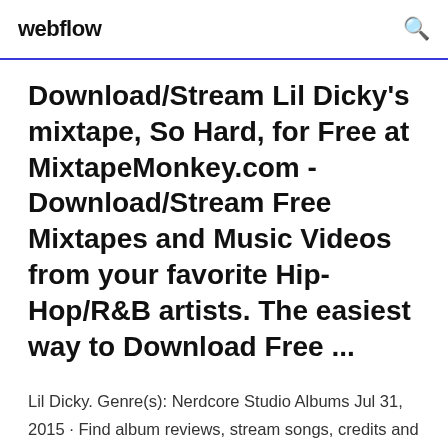webflow
Download/Stream Lil Dicky's mixtape, So Hard, for Free at MixtapeMonkey.com - Download/Stream Free Mixtapes and Music Videos from your favorite Hip-Hop/R&B artists. The easiest way to Download Free ...
Lil Dicky. Genre(s): Nerdcore Studio Albums Jul 31, 2015 · Find album reviews, stream songs, credits and award information for Professional Rapper - Lil Dicky on AllMusic - 2015 - Professional Rapper was released as a